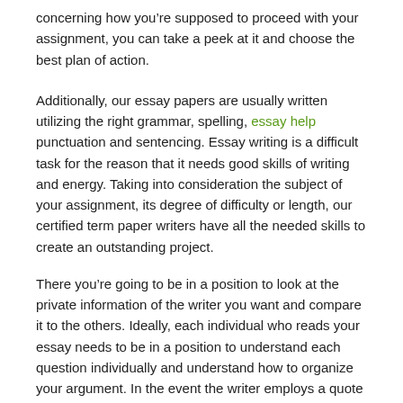concerning how you're supposed to proceed with your assignment, you can take a peek at it and choose the best plan of action.
Additionally, our essay papers are usually written utilizing the right grammar, spelling, essay help punctuation and sentencing. Essay writing is a difficult task for the reason that it needs good skills of writing and energy. Taking into consideration the subject of your assignment, its degree of difficulty or length, our certified term paper writers have all the needed skills to create an outstanding project.
There you're going to be in a position to look at the private information of the writer you want and compare it to the others. Ideally, each individual who reads your essay needs to be in a position to understand each question individually and understand how to organize your argument. In the event the writer employs a quote over 40 words, then it has to be indented five spaces from the margin and written in double https://aussieessaywriter.com.au/editing-services/ space.